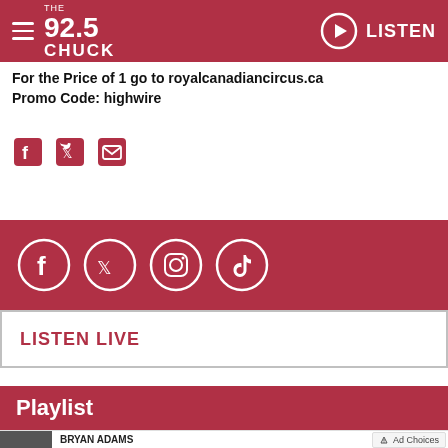92.5 The Chuck — LISTEN
For the Price of 1 go to royalcanadiancircus.ca
Promo Code: highwire
[Figure (infographic): Social share icons: Facebook, Twitter, Email]
[Figure (infographic): Social media icons in red bar: Facebook, Twitter, Instagram, TikTok]
LISTEN LIVE
Playlist
BRYAN ADAMS
[Figure (infographic): Ad Choices badge]